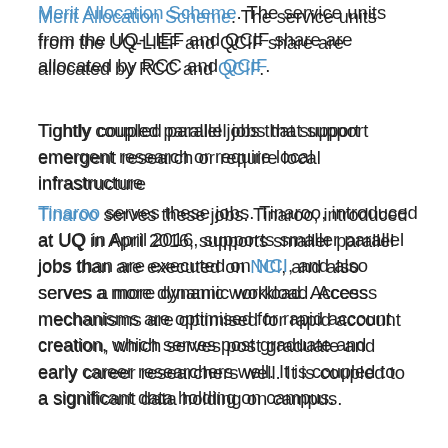Merit Allocation Scheme. The service units from the UQ-LIEF and QCIF share are allocated by RCC and QCIF.
Tightly coupled parallel jobs that support emergent research or require local infrastructure
Tinaroo serves these jobs. Tinaroo, introduced at UQ in April 2016, supports smaller parallel jobs than are executed on NCI, and also serves a more dynamic workload. Access mechanisms are optimised for rapid account creation, which serves post graduate and early career researchers well. It is coupled to a significant data holding on campus.
Very large memory and very high input-output (IO) jobs
In 2015, RCC launched a data intensive computer called FlashLite. FlashLite is funded by ARC LIEF, with significant investment from QCIF, UQ and other